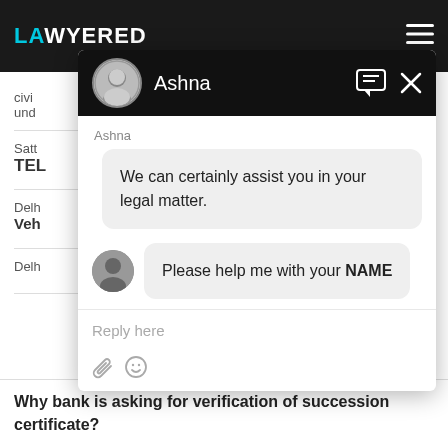[Figure (screenshot): Screenshot of a legal website (Lawyered) with a chat overlay. The page header shows the Lawyered logo in teal/white on a dark background. A chat widget is open showing a conversation with an agent named Ashna. The agent's first message reads 'We can certainly assist you in your legal matter.' The agent's second message reads 'Please help me with your NAME'. There is a reply input area at the bottom. Behind the chat overlay, partial page content is visible including text fragments 'civi', 'und', 'Satt', 'TEL', 'Delh', 'Veh', 'Delh', and 'Why bank is asking for verification of succession certificate?'.]